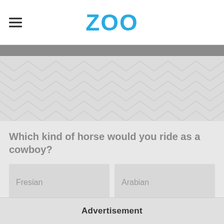ZOO
[Figure (other): Decorative chevron/zigzag pattern background in light gray]
Which kind of horse would you ride as a cowboy?
Fresian
Arabian
Quarter horse
American paint horse
Advertisement